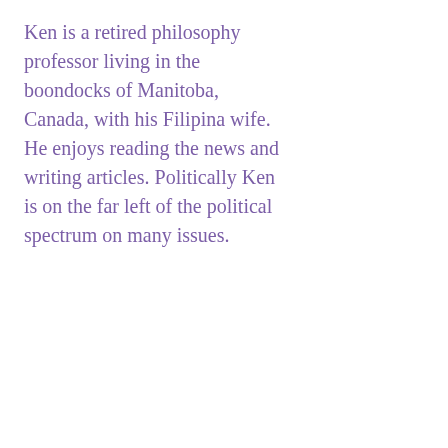Ken is a retired philosophy professor living in the boondocks of Manitoba, Canada, with his Filipina wife. He enjoys reading the news and writing articles. Politically Ken is on the far left of the political spectrum on many issues.